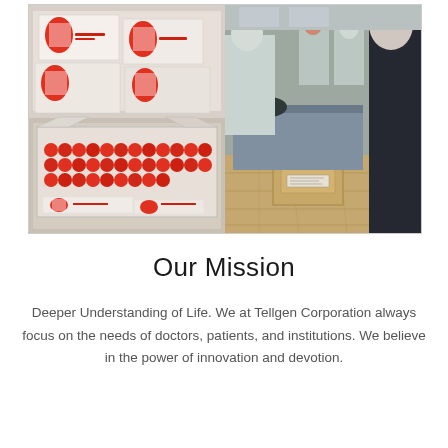[Figure (photo): Collage of four photos: top-left shows white boxes with red and white Tellgen branding stacked; bottom-left shows an open box filled with red-capped sample tubes with more branded boxes; right side shows medical workers in PPE at a testing station with boxes and supplies on a table and floor.]
Our Mission
Deeper Understanding of Life. We at Tellgen Corporation always focus on the needs of doctors, patients, and institutions. We believe in the power of innovation and devotion.